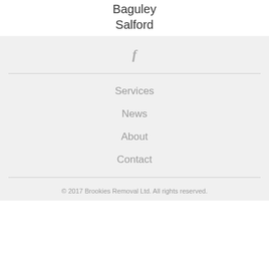Baguley
Salford
[Figure (illustration): Facebook 'f' icon in gray]
Services
News
About
Contact
© 2017 Brookies Removal Ltd. All rights reserved.